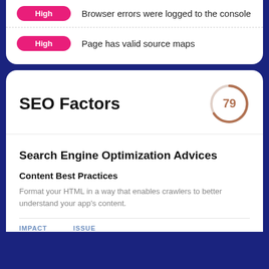High — Browser errors were logged to the console
High — Page has valid source maps
SEO Factors
[Figure (other): Score circle showing 79]
Search Engine Optimization Advices
Content Best Practices
Format your HTML in a way that enables crawlers to better understand your app's content.
| IMPACT | ISSUE |
| --- | --- |